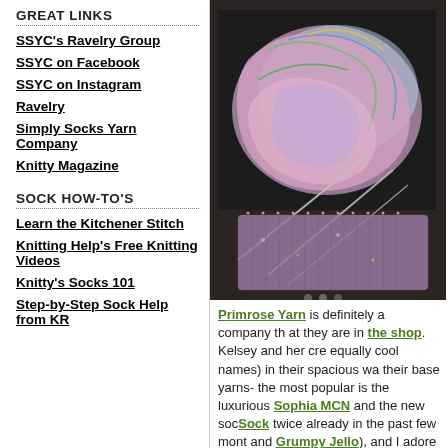GREAT LINKS
SSYC's Ravelry Group
SSYC on Facebook
SSYC on Instagram
Ravelry
Simply Socks Yarn Company
Knitty Magazine
SOCK HOW-TO'S
Learn the Kitchener Stitch
Knitting Help's Free Knitting Videos
Knitty's Socks 101
Step-by-Step Sock Help from KR
[Figure (photo): A skein of multicolored yarn resting on top of a partially knitted sock with knitting needles, on a dark background.]
Primrose Yarn is definitely a company that they are in the shop. Kelsey and her cre equally cool names) in their spacious wa their base yarns- the most popular is the luxurious Sophia MCN and the new soc Sock twice already in the past few mont and Grumpy Jello), and I adore it.